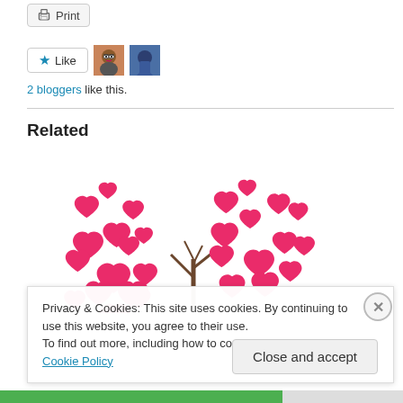[Figure (other): Print button with printer icon]
[Figure (other): Like button with star icon and two blogger avatar thumbnails]
2 bloggers like this.
Related
[Figure (illustration): Heart-shaped tree illustration made of red/pink hearts on white background]
Privacy & Cookies: This site uses cookies. By continuing to use this website, you agree to their use.
To find out more, including how to control cookies, see here: Cookie Policy
[Figure (other): Close and accept button for cookie banner]